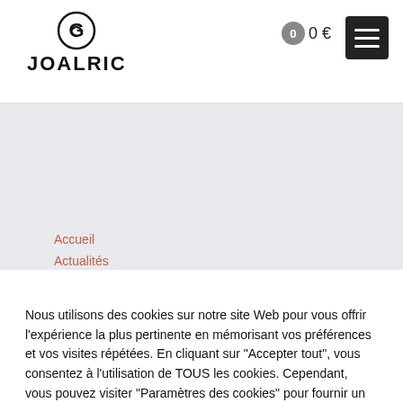[Figure (logo): JOALRIC logo with circular G icon above bold text JOALRIC]
0  0 €
[Figure (other): Hamburger menu button (three white lines on dark background)]
[Figure (other): Gray banner/hero image area]
Accueil
Actualités
Nous utilisons des cookies sur notre site Web pour vous offrir l'expérience la plus pertinente en mémorisant vos préférences et vos visites répétées. En cliquant sur "Accepter tout", vous consentez à l'utilisation de TOUS les cookies. Cependant, vous pouvez visiter "Paramètres des cookies" pour fournir un consentement contrôlé.
Cookie Settings
Accepter tout